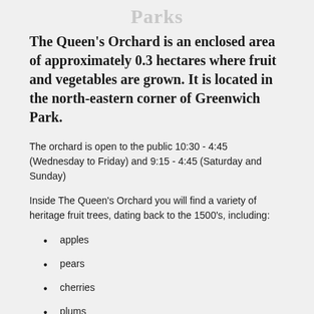Parks
The Queen's Orchard is an enclosed area of approximately 0.3 hectares where fruit and vegetables are grown. It is located in the north-eastern corner of Greenwich Park.
The orchard is open to the public 10:30 - 4:45 (Wednesday to Friday) and 9:15 - 4:45 (Saturday and Sunday)
Inside The Queen's Orchard you will find a variety of heritage fruit trees, dating back to the 1500's, including:
apples
pears
cherries
plums
peaches
apricot